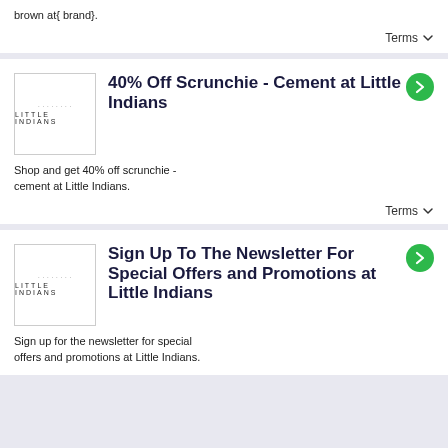brown at{ brand}.
Terms ▾
40% Off Scrunchie - Cement at Little Indians
Shop and get 40% off scrunchie - cement at Little Indians.
Terms ▾
Sign Up To The Newsletter For Special Offers and Promotions at Little Indians
Sign up for the newsletter for special offers and promotions at Little Indians.